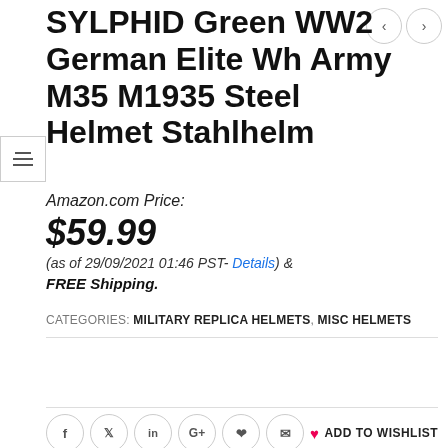SYLPHID Green WW2 German Elite Wh Army M35 M1935 Steel Helmet Stahlhelm
Amazon.com Price:
$59.99
(as of 29/09/2021 01:46 PST- Details) & FREE Shipping.
CATEGORIES: MILITARY REPLICA HELMETS, MISC HELMETS
BUY THIS HELMET
ADD TO WISHLIST